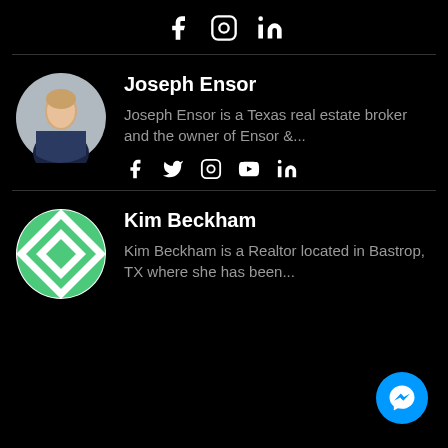[Figure (infographic): Social media icons row: Facebook, Instagram, LinkedIn]
[Figure (photo): Circular profile photo of Joseph Ensor, a man in a dark suit]
Joseph Ensor
Joseph Ensor is a Texas real estate broker and the owner of Ensor &...
[Figure (infographic): Social media icons: Facebook, Twitter, Instagram, YouTube, LinkedIn]
[Figure (logo): Circular green and white quilt-pattern logo for Kim Beckham]
Kim Beckham
Kim Beckham is a Realtor located in Bastrop, TX where she has been...
[Figure (infographic): Blue circular Messenger chat button in bottom-right corner]